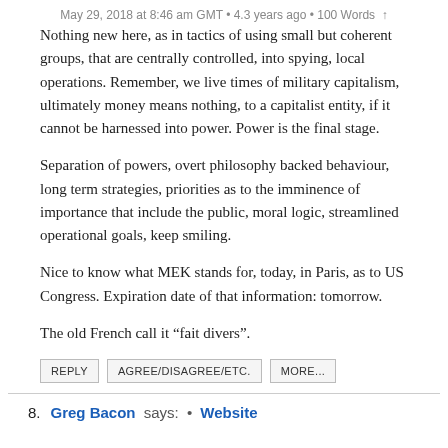May 29, 2018 at 8:46 am GMT • 4.3 years ago • 100 Words ↑
Nothing new here, as in tactics of using small but coherent groups, that are centrally controlled, into spying, local operations. Remember, we live times of military capitalism, ultimately money means nothing, to a capitalist entity, if it cannot be harnessed into power. Power is the final stage.
Separation of powers, overt philosophy backed behaviour, long term strategies, priorities as to the imminence of importance that include the public, moral logic, streamlined operational goals, keep smiling.
Nice to know what MEK stands for, today, in Paris, as to US Congress. Expiration date of that information: tomorrow.
The old French call it “fait divers”.
REPLY   AGREE/DISAGREE/ETC.   MORE...
8. Greg Bacon says: • Website